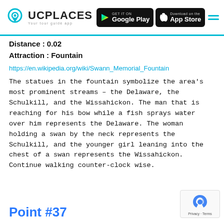UCPlaces - Your tour guide app
Distance : 0.02
Attraction : Fountain
https://en.wikipedia.org/wiki/Swann_Memorial_Fountain
The statues in the fountain symbolize the area's most prominent streams – the Delaware, the Schulkill, and the Wissahickon. The man that is reaching for his bow while a fish sprays water over him represents the Delaware. The woman holding a swan by the neck represents the Schulkill, and the younger girl leaning into the chest of a swan represents the Wissahickon. Continue walking counter-clock wise.
Point #37